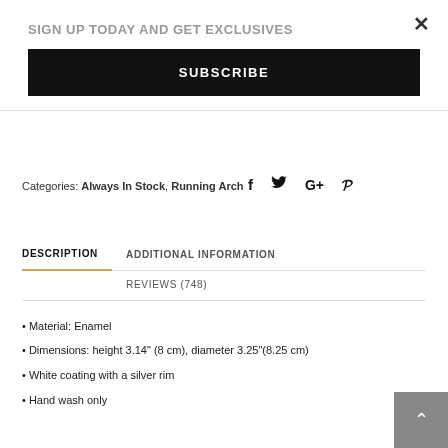SIGN UP TODAY AND GET EXCLUSIVES
SUBSCRIBE
Categories: Always In Stock, Running Arch
[Figure (infographic): Social media icons: Facebook (f), Twitter (bird), Google+, Pinterest (P)]
DESCRIPTION
ADDITIONAL INFORMATION
REVIEWS (748)
Material: Enamel
Dimensions: height 3.14" (8 cm), diameter 3.25"(8.25 cm)
White coating with a silver rim
Hand wash only